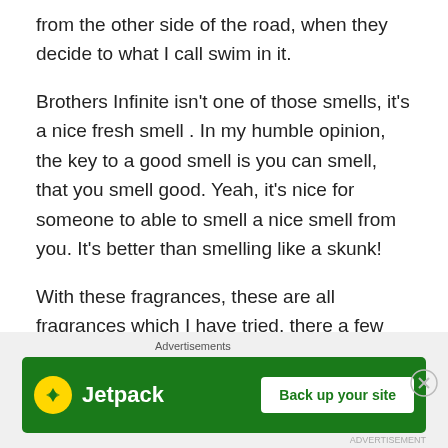from the other side of the road, when they decide to what I call swim in it.
Brothers Infinite isn't one of those smells, it's a nice fresh smell . In my humble opinion, the key to a good smell is you can smell, that you smell good. Yeah, it's nice for someone to able to smell a nice smell from you. It's better than smelling like a skunk!
With these fragrances, these are all fragrances which I have tried, there a few honourable mentions So this is my list brothers, do you agree with this list, or is there any more that I can try ?
[Figure (other): Jetpack advertisement banner with green background showing Jetpack logo and 'Back up your site' button]